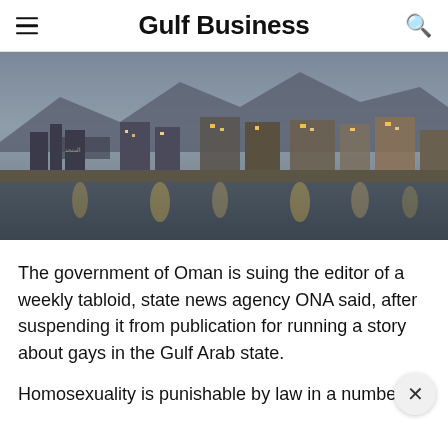Gulf Business
[Figure (photo): Nighttime cityscape of Muscat, Oman, showing illuminated buildings along a waterfront with reflections on the water and mountains in the background.]
The government of Oman is suing the editor of a weekly tabloid, state news agency ONA said, after suspending it from publication for running a story about gays in the Gulf Arab state.
Homosexuality is punishable by law in a number o